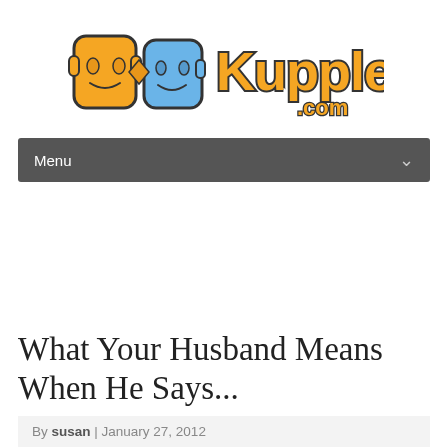[Figure (logo): Kupple.com logo with two face silhouettes in orange and blue, and the word Kupple.com in stylized orange lettering with dark outline]
Menu
What Your Husband Means When He Says...
By susan | January 27, 2012